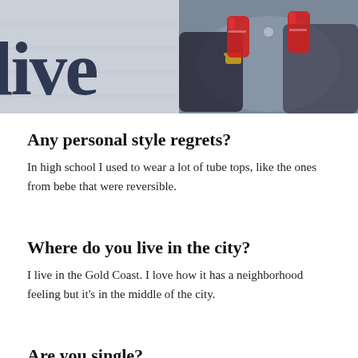[Figure (photo): Left photo: partial view of a cursive/script sign on a light textured wall reading something like 'live'. Right photo: two people clinking drinks/cans together.]
Any personal style regrets?
In high school I used to wear a lot of tube tops, like the ones from bebe that were reversible.
Where do you live in the city?
I live in the Gold Coast. I love how it has a neighborhood feeling but it's in the middle of the city.
Are you single?